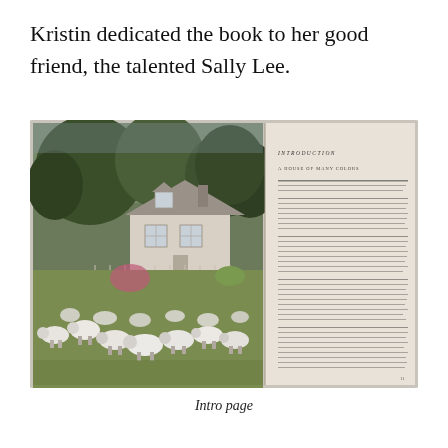Kristin dedicated the book to her good friend, the talented Sally Lee.
[Figure (photo): Open book spread showing a full-page photograph on the left side of a New England farmhouse with sheep running across a green lawn and trees in the background, and text pages on the right side with 'INTRODUCTION' and 'A HOUSE OF MANY COLORS' headings visible.]
Intro page